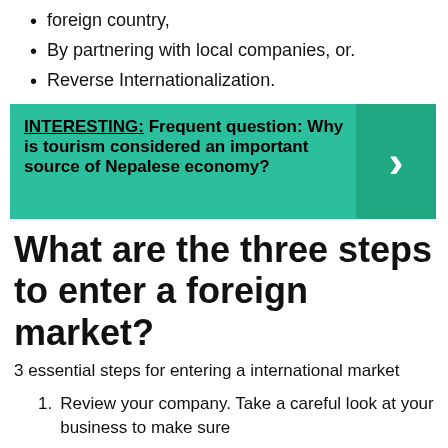foreign country,
By partnering with local companies, or.
Reverse Internationalization.
[Figure (infographic): Teal banner with 'INTERESTING: Frequent question: Why is tourism considered an important source of Nepalese economy?' and a right-arrow chevron on the right side in a darker teal box.]
What are the three steps to enter a foreign market?
3 essential steps for entering a international market
Review your company. Take a careful look at your business to make sure...